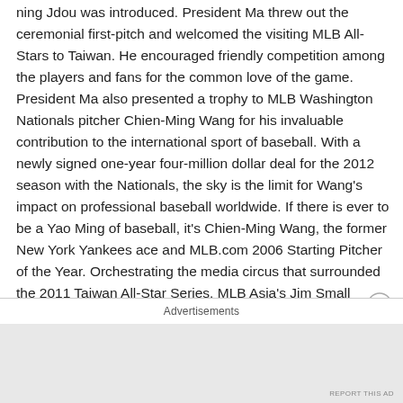Ming Jdou was introduced. President Ma threw out the ceremonial first-pitch and welcomed the visiting MLB All-Stars to Taiwan. He encouraged friendly competition among the players and fans for the common love of the game. President Ma also presented a trophy to MLB Washington Nationals pitcher Chien-Ming Wang for his invaluable contribution to the international sport of baseball. With a newly signed one-year four-million dollar deal for the 2012 season with the Nationals, the sky is the limit for Wang's impact on professional baseball worldwide. If there is ever to be a Yao Ming of baseball, it's Chien-Ming Wang, the former New York Yankees ace and MLB.com 2006 Starting Pitcher of the Year. Orchestrating the media circus that surrounded the 2011 Taiwan All-Star Series, MLB Asia's Jim Small explained why Wang is a big deal: “You
Advertisements